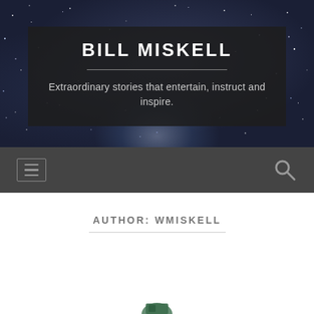[Figure (illustration): Dark starfield hero banner with deep blue and purple galaxy-like nebula effect and scattered white star dots as background]
BILL MISKELL
Extraordinary stories that entertain, instruct and inspire.
[Figure (screenshot): Dark gray navigation bar with a hamburger menu icon on the left and a search (magnifying glass) icon on the right]
AUTHOR: WMISKELL
[Figure (illustration): Partial view of a book or item image at the very bottom of the page, partially cropped]